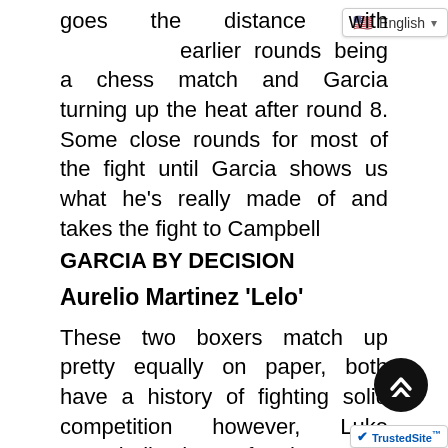goes the distance with earlier rounds being a chess match and Garcia turning up the heat after round 8. Some close rounds for most of the fight until Garcia shows us what he’s really made of and takes the fight to Campbell
GARCIA BY DECISION
Aurelio Martinez ‘Lelo’
These two boxers match up pretty equally on paper, both have a history of fighting solid competition however, Luke Campbell has fought great competition in Vasyl Lomachenko and Jorge Linares. Edge in experience goes to Campbell.
Youth is on Ryan Garcia’s [22 yrs old] side, facing a 33-year-old Campbell. No edge to either boxer as far as height. The key to victory in this contest